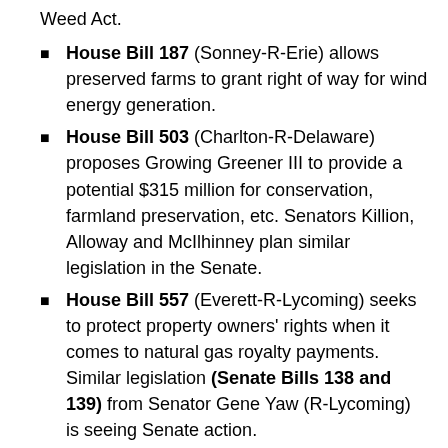Weed Act.
House Bill 187 (Sonney-R-Erie) allows preserved farms to grant right of way for wind energy generation.
House Bill 503 (Charlton-R-Delaware) proposes Growing Greener III to provide a potential $315 million for conservation, farmland preservation, etc. Senators Killion, Alloway and McIlhinney plan similar legislation in the Senate.
House Bill 557 (Everett-R-Lycoming) seeks to protect property owners' rights when it comes to natural gas royalty payments. Similar legislation (Senate Bills 138 and 139) from Senator Gene Yaw (R-Lycoming) is seeing Senate action.
House Bill 251 (Kauffman-R-Franklin provides for a Farmland Preservation license plate.
Senate Bill 246 (Leach-D-Chester/Delaware) prohibits use of certain antibiotics in farm animal